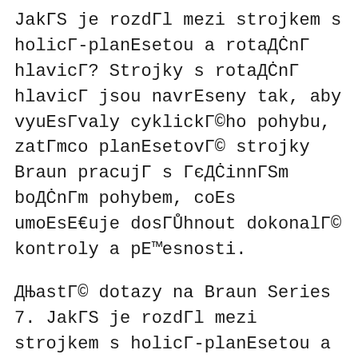JakГS je rozdГl mezi strojkem s holicГ-planEsetou a rotaДĊnГ hlavicГ? Strojky s rotaДĊnГ hlavicГ jsou navrEseny tak, aby vyuEsГvaly cyklickГ©ho pohybu, zatГmco planEsetovГ© strojky Braun pracujГ s ГєДĊinnГSm boДĊnГm pohybem, coEs umoEsE€uje dosГŮhnout dokonalГ© kontroly a pE™esnosti.
ДЊastГ© dotazy na Braun Series 7. JakГS je rozdГl mezi strojkem s holicГ-planEsetou a rotaДĊnГ hlavicГ? Strojky s rotaДĊnГ hlavicГ jsou navrEseny tak, aby vyuEsГvaly cyklickГ©ho pohybu, zatГmco planEsetovГ© strojky Braun pracujГ s ГєДĊinnГSm boДĊnГm pohybem, coEs umoEsE€uje dosГŮhnout dokonalГ© kontroly a pE™esnosti.